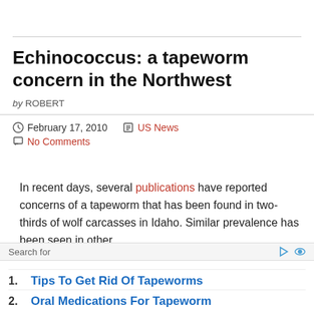Echinococcus: a tapeworm concern in the Northwest
by ROBERT
February 17, 2010  US News  No Comments
In recent days, several publications have reported concerns of a tapeworm that has been found in two-thirds of wolf carcasses in Idaho. Similar prevalence has been seen in other
Search for
1. Tips To Get Rid Of Tapeworms
2. Oral Medications For Tapeworm